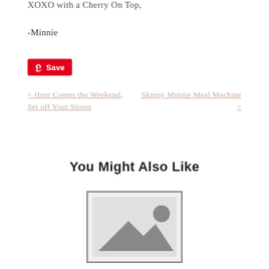XOXO with a Cherry On Top,
-Minnie
[Figure (other): Pinterest Save button with red background and white text]
< Here Comes the Weekend, Set off Your Sirens
Skinny Minnie Meal Machine >
You Might Also Like
[Figure (photo): Placeholder image with mountain and sun icon in grey tones]